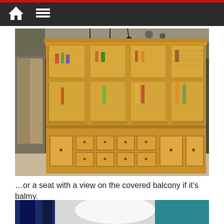Navigation bar with home and menu icons
[Figure (photo): A large wooden display cabinet with chicken-wire glass doors, illuminated shelves holding bottles and items, lower section with drawers and cabinet doors, in a restaurant or bar setting with dark green walls and pendant lights]
…or a seat with a view on the covered balcony if it's balmy.
[Figure (photo): Partial view of another photo below, showing dark blue and light/white areas, partially cut off at bottom of page]